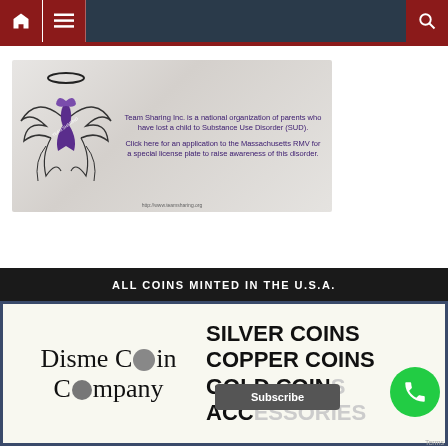Navigation bar with home, menu, and search icons
[Figure (illustration): Team Sharing Inc. banner with angel wings and purple ribbon logo. Text reads: 'Team Sharing Inc. is a national organization of parents who have lost a child to Substance Use Disorder (SUD). Click here for an application to the Massachusetts RMV for a special license plate to raise awareness of this disorder.' URL: http://www.teamsharing.org]
[Figure (logo): Disme Coin Company advertisement. Black header reads 'ALL COINS MINTED IN THE U.S.A.' with company logo and product types: SILVER COINS, COPPER COINS, GOLD COINS, ACCESSORIES]